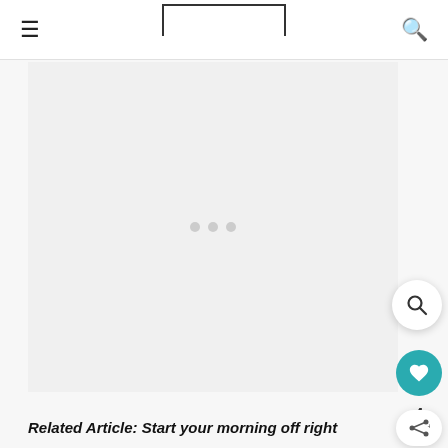Navigation bar with hamburger menu and search icon
[Figure (photo): Large image placeholder area (light gray) with three loading dots centered, indicating an image is loading. A floating search button appears on the right side.]
Related Article: Start your morning off right